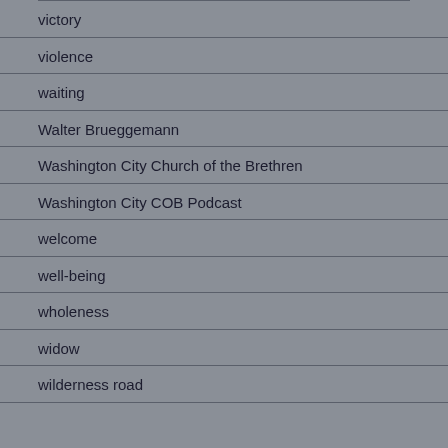victory
violence
waiting
Walter Brueggemann
Washington City Church of the Brethren
Washington City COB Podcast
welcome
well-being
wholeness
widow
wilderness road